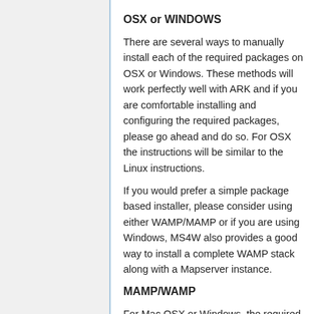OSX or WINDOWS
There are several ways to manually install each of the required packages on OSX or Windows. These methods will work perfectly well with ARK and if you are comfortable installing and configuring the required packages, please go ahead and do so. For OSX the instructions will be similar to the Linux instructions.
If you would prefer a simple package based installer, please consider using either WAMP/MAMP or if you are using Windows, MS4W also provides a good way to install a complete WAMP stack along with a Mapserver instance.
MAMP/WAMP
For Mac OSX or Windows, the required